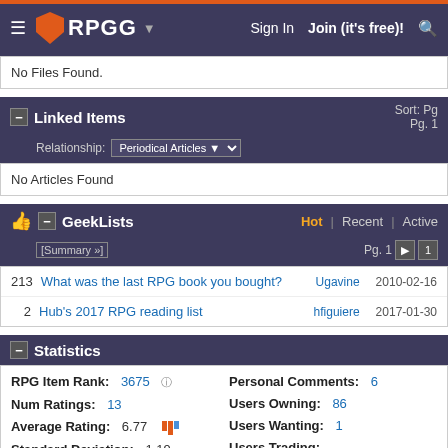RPGG | Sign In | Join (it's free)!
No Files Found.
Linked Items | Sort: Pg | Relationship: Periodical Articles | Pg. 1
No Articles Found
GeekLists | Hot | Recent | Active | [Summary »] | Pg. 1
213 What was the last RPG book you bought? Ugavine 2010-02-16
2 Hub's 2017 RPG reading list hfiguiere 2017-01-30
Statistics
| Label | Value | Label | Value |
| --- | --- | --- | --- |
| RPG Item Rank: | 3675 | Personal Comments: | 6 |
| Num Ratings: | 13 | Users Owning: | 86 |
| Average Rating: | 6.77 | Users Wanting: | 1 |
| Standard Deviation: | 1.19 | Users Trading: | 3 [find trade matches] |
| Num Views: | 1166 |  |  |
| GeekBuddy Analysis: | Analyze |  |  |